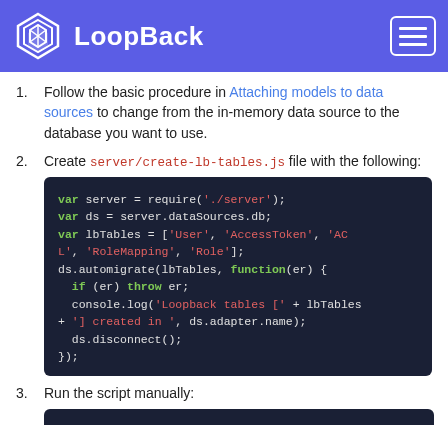LoopBack
Follow the basic procedure in Attaching models to data sources to change from the in-memory data source to the database you want to use.
Create server/create-lb-tables.js file with the following:
[Figure (screenshot): Code block showing JavaScript code for creating LoopBack tables with automigrate]
Run the script manually: